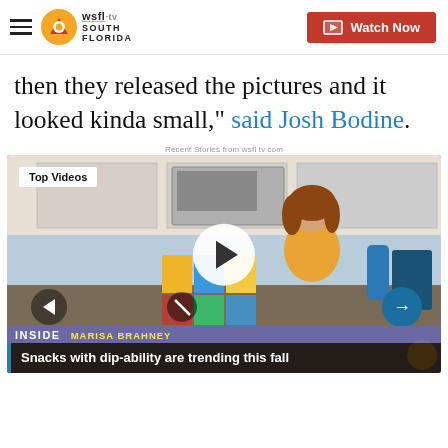WSFL-TV South Florida | Watch Now
then they released the pictures and it looked kinda small," said Josh Bodine.
Recent Stories from wsfl tv.com
[Figure (screenshot): Video player showing a woman in a kitchen with snack products on counter. Top Videos badge in upper left. Play button in center. Inside/Marisa Brahney lower bar. Caption: Snacks with dip-ability are trending this fall.]